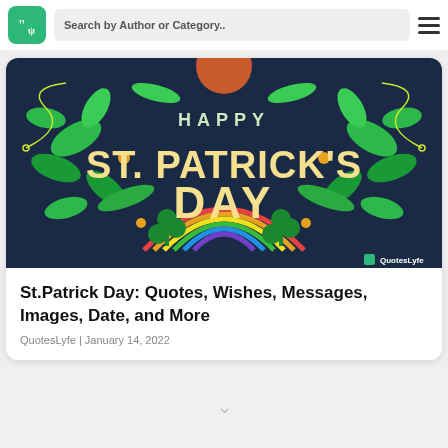Search by Author or Category..
[Figure (illustration): Happy St. Patrick's Day decorative banner with green leaves, shamrocks, rainbow, and orange circle on dark navy background. Text reads HAPPY ST. PATRICK'S DAY in large yellow/cream letters. QuotesLyfe watermark in bottom right corner.]
St.Patrick Day: Quotes, Wishes, Messages, Images, Date, and More
QuotesLyfe | January 14, 2022